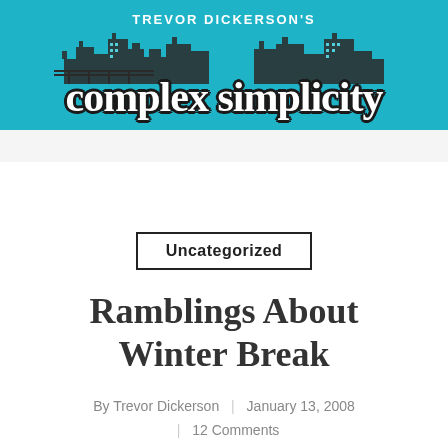[Figure (logo): Trevor Dickerson's Complex Simplicity blog header logo with teal/cyan background, city skyline illustration, and stylized script text]
Uncategorized
Ramblings About Winter Break
By Trevor Dickerson | January 13, 2008
| 12 Comments